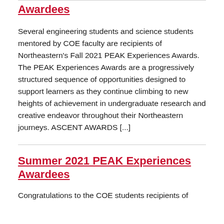Awardees
Several engineering students and science students mentored by COE faculty are recipients of Northeastern's Fall 2021 PEAK Experiences Awards. The PEAK Experiences Awards are a progressively structured sequence of opportunities designed to support learners as they continue climbing to new heights of achievement in undergraduate research and creative endeavor throughout their Northeastern journeys. ASCENT AWARDS [...]
Summer 2021 PEAK Experiences Awardees
Congratulations to the COE students recipients of...